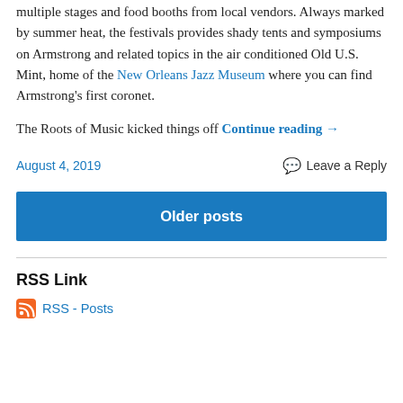multiple stages and food booths from local vendors. Always marked by summer heat, the festivals provides shady tents and symposiums on Armstrong and related topics in the air conditioned Old U.S. Mint, home of the New Orleans Jazz Museum where you can find Armstrong's first coronet.
The Roots of Music kicked things off Continue reading →
August 4, 2019
Leave a Reply
Older posts
RSS Link
RSS - Posts